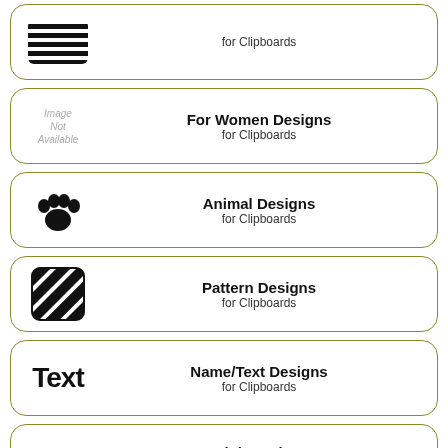[Figure (illustration): Card with zebra stripe pattern icon, text 'for Clipboards']
[Figure (illustration): Card with 'Image Not Available' placeholder, 'For Women Designs for Clipboards']
[Figure (illustration): Card with paw print icon, 'Animal Designs for Clipboards']
[Figure (illustration): Card with diagonal stripe pattern icon, 'Pattern Designs for Clipboards']
[Figure (illustration): Card with bold 'Text' word, 'Name/Text Designs for Clipboards']
[Figure (illustration): Card with 'Image' placeholder, 'Adult Designs' partially visible]